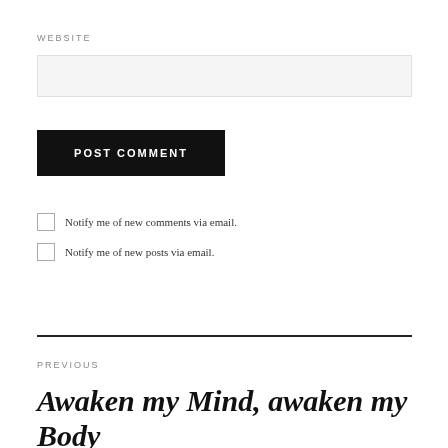WEBSITE
POST COMMENT
Notify me of new comments via email.
Notify me of new posts via email.
PREVIOUS
Awaken my Mind, awaken my Body